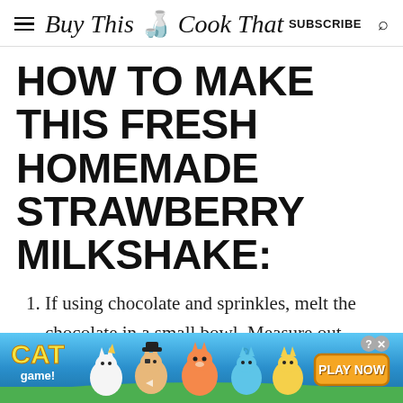Buy This Cook That  SUBSCRIBE
HOW TO MAKE THIS FRESH HOMEMADE STRAWBERRY MILKSHAKE:
If using chocolate and sprinkles, melt the chocolate in a small bowl. Measure out sprinkles in a shallow
[Figure (other): Cat Game mobile app advertisement banner with cartoon cats, 'CAT game!' logo in yellow, and 'PLAY NOW' orange button on a blue gradient background]